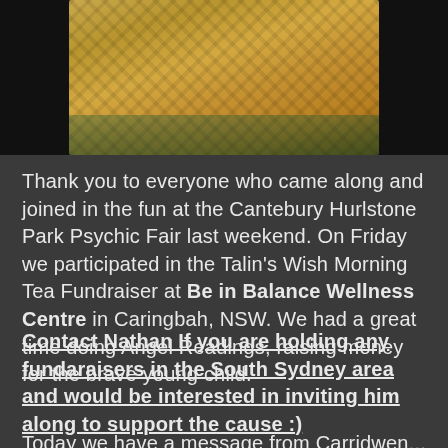[Figure (photo): Photo of a table with a yellow/gold patterned tablecloth in a dark setting]
Thank you to everyone who came along and joined in the fun at the Cantebury Hurlstone Park Psychic Fair last weekend. On Friday we participated in the Talin's Wish Morning Tea Fundraiser at Be in Balance Wellness Centre in Caringbah, NSW. We had a great time doing Angel Readings, raising money for the brave young child.
Contact Nathan If you are holding any fundaraisers in the South Sydney area and would be interested in inviting him along to support the cause :)
Today we have a message from Carridwen...